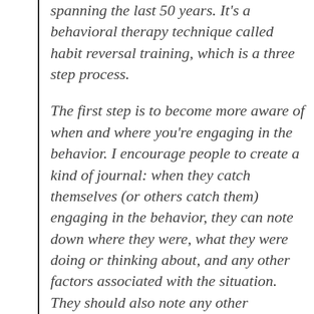spanning the last 50 years. It's a behavioral therapy technique called habit reversal training, which is a three step process.
The first step is to become more aware of when and where you're engaging in the behavior. I encourage people to create a kind of journal: when they catch themselves (or others catch them) engaging in the behavior, they can note down where they were, what they were doing or thinking about, and any other factors associated with the situation. They should also note any other movements in a potential chain of behaviors that culminate in the